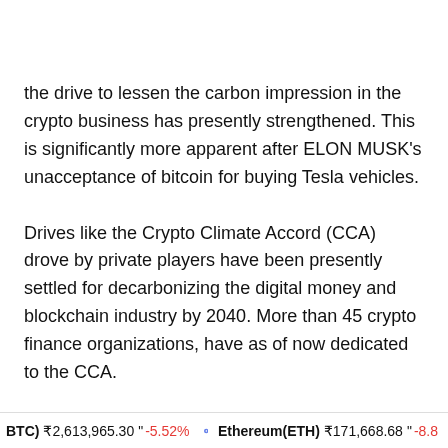the drive to lessen the carbon impression in the crypto business has presently strengthened. This is significantly more apparent after ELON MUSK's unacceptance of bitcoin for buying Tesla vehicles.
Drives like the Crypto Climate Accord (CCA) drove by private players have been presently settled for decarbonizing the digital money and blockchain industry by 2040. More than 45 crypto finance organizations, have as of now dedicated to the CCA.
Cryptocurrency
BTC) ₹2,613,965.30 " -5.52%   Ethereum(ETH) ₹171,668.68 " -8.8